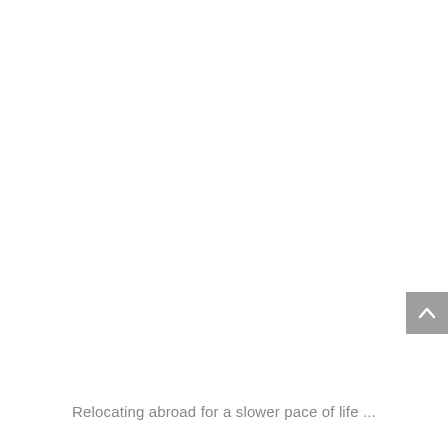[Figure (other): Scroll-to-top button — a grey rounded rectangle with a white upward chevron arrow, positioned at the right edge of the page.]
Relocating abroad for a slower pace of life ...